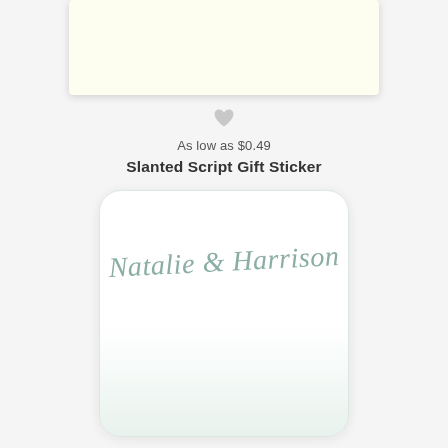[Figure (photo): Top portion of a cream/ivory colored stationery card shown at top of page]
[Figure (illustration): Small gray heart icon centered below the top card]
As low as $0.49
Slanted Script Gift Sticker
[Figure (illustration): White gift sticker card with rounded corners showing cursive script text 'Natalie & Harrison' in sage/teal color, with subtle green gradient at bottom]